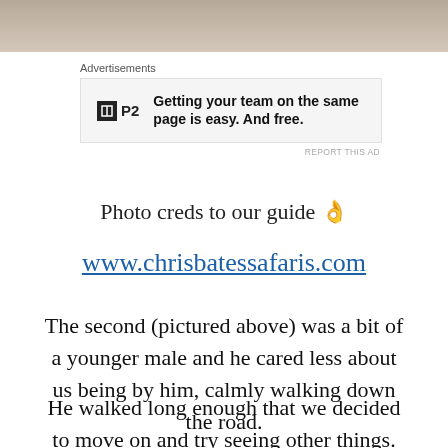[Figure (photo): Top portion of a photo showing animal fur/texture, cropped at top of page]
Advertisements
[Figure (other): P2 advertisement banner: logo with black square containing white icon and 'P2' text, bold text reading 'Getting your team on the same page is easy. And free.']
REPORT THIS AD
Photo creds to our guide 👌
www.chrisbatessafaris.com
The second (pictured above) was a bit of a younger male and he cared less about us being by him, calmly walking down the road.
He walked long enough that we decided to move on and try seeing other things. Like a leopard that had been reported!